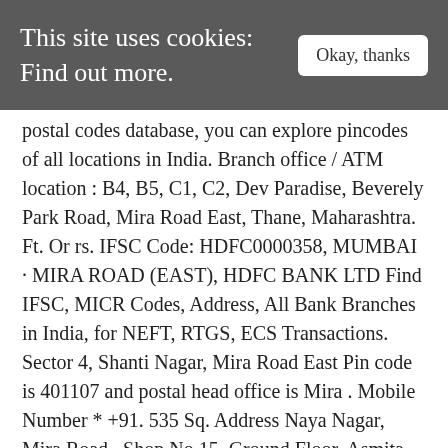This site uses cookies: Find out more.
postal codes database, you can explore pincodes of all locations in India. Branch office / ATM location : B4, B5, C1, C2, Dev Paradise, Beverely Park Road, Mira Road East, Thane, Maharashtra. Ft. Or rs. IFSC Code: HDFC0000358, MUMBAI · MIRA ROAD (EAST), HDFC BANK LTD Find IFSC, MICR Codes, Address, All Bank Branches in India, for NEFT, RTGS, ECS Transactions. Sector 4, Shanti Nagar, Mira Road East Pin code is 401107 and postal head office is Mira . Mobile Number * +91. 535 Sq. Address Naya Nagar, Mira Road.. Shop No 15, Ground Floor, Asmita Lords Plaza